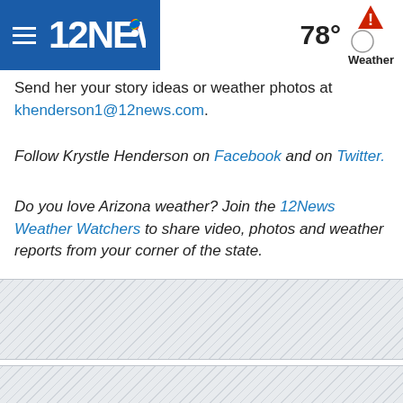12NEWS | 78° Weather
Send her your story ideas or weather photos at khenderson1@12news.com.
Follow Krystle Henderson on Facebook and on Twitter.
Do you love Arizona weather? Join the 12News Weather Watchers to share video, photos and weather reports from your corner of the state.
[Figure (other): Hatched advertisement placeholder area 1]
[Figure (other): Hatched advertisement placeholder area 2]